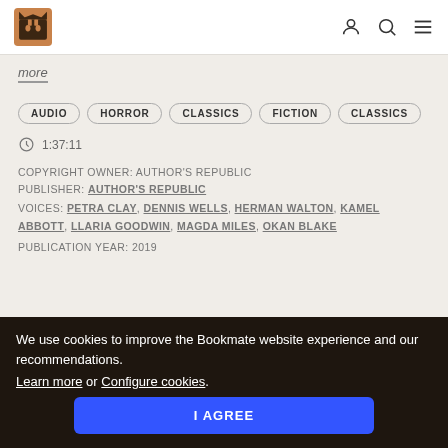Bookmate header with logo and icons
more
AUDIO
HORROR
CLASSICS
FICTION
CLASSICS
1:37:11
COPYRIGHT OWNER: AUTHOR'S REPUBLIC
PUBLISHER: AUTHOR'S REPUBLIC
VOICES: PETRA CLAY, DENNIS WELLS, HERMAN WALTON, KAMEL ABBOTT, LLARIA GOODWIN, MAGDA MILES, OKAN BLAKE
PUBLICATION YEAR: 2019
We use cookies to improve the Bookmate website experience and our recommendations. Learn more or Configure cookies.
I AGREE